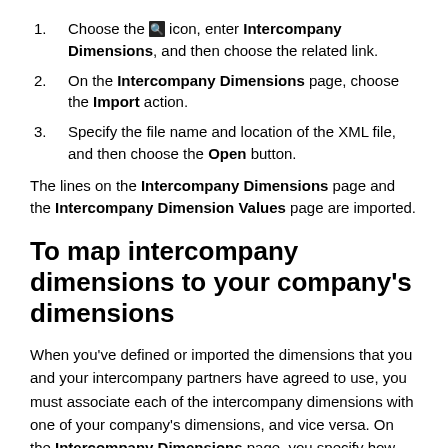Choose the [search] icon, enter Intercompany Dimensions, and then choose the related link.
On the Intercompany Dimensions page, choose the Import action.
Specify the file name and location of the XML file, and then choose the Open button.
The lines on the Intercompany Dimensions page and the Intercompany Dimension Values page are imported.
To map intercompany dimensions to your company's dimensions
When you've defined or imported the dimensions that you and your intercompany partners have agreed to use, you must associate each of the intercompany dimensions with one of your company's dimensions, and vice versa. On the Intercompany Dimensions page, you specify how